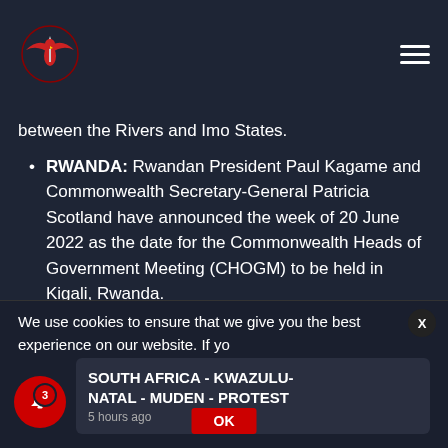Willshir & Associates logo and navigation
between the Rivers and Imo States.
RWANDA: Rwandan President Paul Kagame and Commonwealth Secretary-General Patricia Scotland have announced the week of 20 June 2022 as the date for the Commonwealth Heads of Government Meeting (CHOGM) to be held in Kigali, Rwanda.
Website: www.willshir.com – 2022 © Willshir & Associates
We use cookies to ensure that we give you the best experience on our website. If yo...
SOUTH AFRICA - KWAZULU-NATAL - MUDEN - PROTEST
5 hours ago